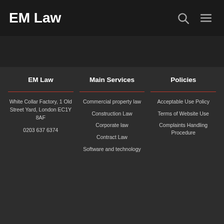EM Law
EM Law
White Collar Factory, 1 Old Street Yard, London EC1Y 8AF
0203 637 6374
Main Services
Commercial property law
Construction Law
Corporate law
Contract Law
Software and technology
Policies
Acceptable Use Policy
Terms of Website Use
Complaints Handling Procedure